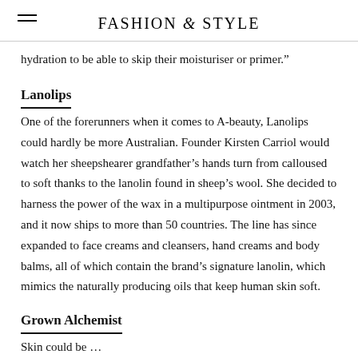FASHION & STYLE
hydration to be able to skip their moisturiser or primer.”
Lanolips
One of the forerunners when it comes to A-beauty, Lanolips could hardly be more Australian. Founder Kirsten Carriol would watch her sheepshearer grandfather’s hands turn from calloused to soft thanks to the lanolin found in sheep’s wool. She decided to harness the power of the wax in a multipurpose ointment in 2003, and it now ships to more than 50 countries. The line has since expanded to face creams and cleansers, hand creams and body balms, all of which contain the brand’s signature lanolin, which mimics the naturally producing oils that keep human skin soft.
Grown Alchemist
Skin could be … (continues below)